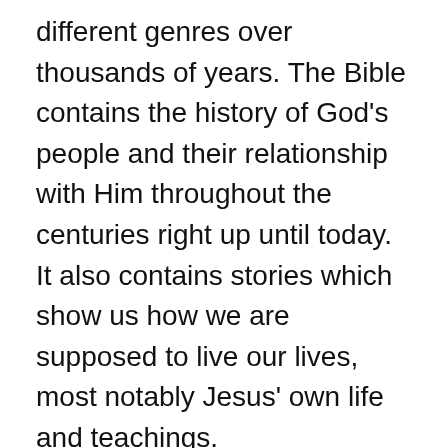different genres over thousands of years. The Bible contains the history of God's people and their relationship with Him throughout the centuries right up until today. It also contains stories which show us how we are supposed to live our lives, most notably Jesus' own life and teachings.
The Bible has so much power to encourage and speak into our lives! The Psalms are full of praise for God's goodness; Proverbs gives us wisdom on how we should live; Romans explains who Jesus was and why He came; Titus teaches about what it means for a Christian woman to have dignity as well as respect from her husband; 1 Corinthians tells